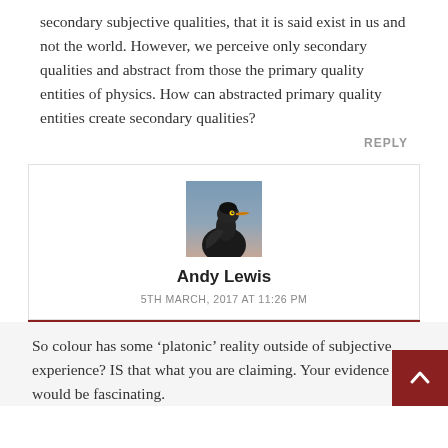secondary subjective qualities, that it is said exist in us and not the world. However, we perceive only secondary qualities and abstract from those the primary quality entities of physics. How can abstracted primary quality entities create secondary qualities?
REPLY
[Figure (photo): Avatar photo of a heron/duck bird, dark plumage with orange beak, against a blurred blue-grey background]
Andy Lewis
5TH MARCH, 2017 AT 11:26 PM
So colour has some 'platonic' reality outside of subjective experience? IS that what you are claiming. Your evidence would be fascinating.